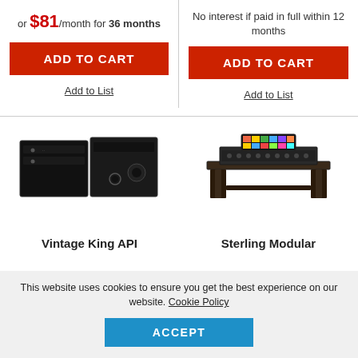or $81/month for 36 months
No interest if paid in full within 12 months
ADD TO CART
Add to List
ADD TO CART
Add to List
[Figure (photo): Two black rack-mount enclosures/chassis]
[Figure (photo): Studio desk/console with colorful control surface on top]
Vintage King API
Sterling Modular
This website uses cookies to ensure you get the best experience on our website. Cookie Policy
ACCEPT